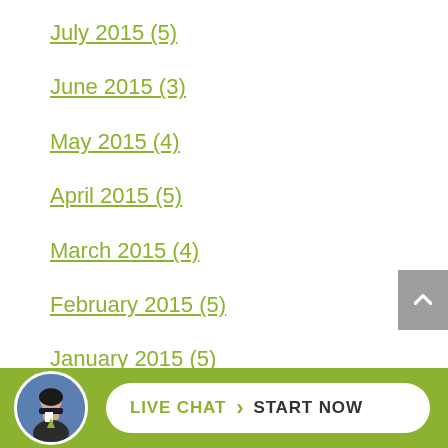July 2015 (5)
June 2015 (3)
May 2015 (4)
April 2015 (5)
March 2015 (4)
February 2015 (5)
January 2015 (5)
December 2014 (4)
November 2014 (5)
[Figure (other): Live chat footer bar with avatar photo of man in suit, and a white pill-shaped button reading LIVE CHAT START NOW]